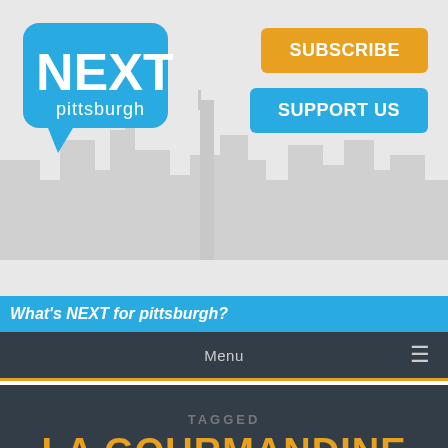[Figure (screenshot): NEXTpittsburgh logo in a blue speech bubble]
SUBSCRIBE
SUPPORT US
What's NEXT for pittsburgh?
Menu
TAGGED
LA GOURMANDINE
Home > La Gourmandine
[Figure (infographic): Social sharing buttons: Facebook, Twitter, Pinterest, Email, SMS, Share]